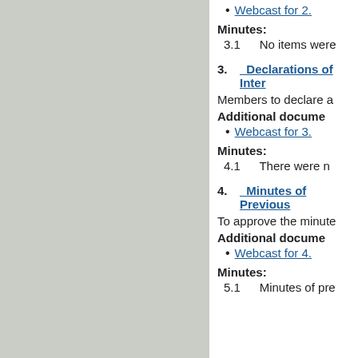Webcast for 2.
Minutes:
3.1    No items were
3.    Declarations of Inter
Members to declare a
Additional docume
Webcast for 3.
Minutes:
4.1    There were n
4.    Minutes of Previous
To approve the minute
Additional docume
Webcast for 4.
Minutes:
5.1    Minutes of pre